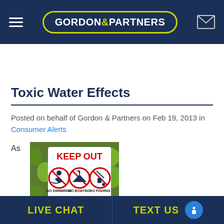GORDON & PARTNERS
Tap To Call
Toxic Water Effects
Posted on behalf of Gordon & Partners on Feb 19, 2013 in Consumer Alerts
As
[Figure (photo): A warning sign in an outdoor area with green vegetation reading KEEP OUT with icons for No Swimming, No Boating, No Fishing and text CONTAMINATED WATER]
LIVE CHAT | TEXT US